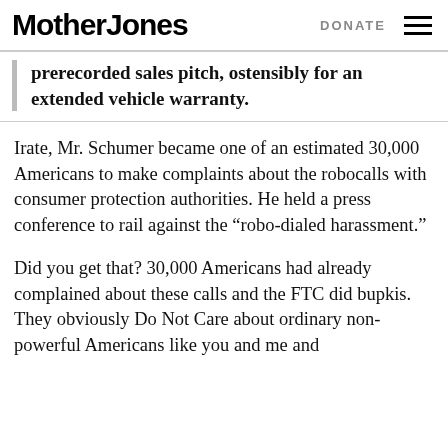Mother Jones  DONATE
prerecorded sales pitch, ostensibly for an extended vehicle warranty.
Irate, Mr. Schumer became one of an estimated 30,000 Americans to make complaints about the robocalls with consumer protection authorities. He held a press conference to rail against the “robo-dialed harassment.”
Did you get that? 30,000 Americans had already complained about these calls and the FTC did bupkis. They obviously Do Not Care about ordinary non-powerful Americans like you and me and